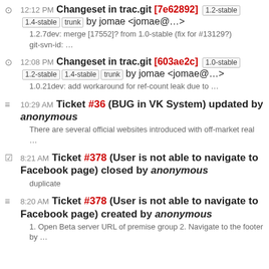12:12 PM Changeset in trac.git [7e62892] 1.2-stable 1.4-stable trunk by jomae <jomae@…>
1.2.7dev: merge [17552]? from 1.0-stable (fix for #13129?)
git-svn-id: …
12:08 PM Changeset in trac.git [603ae2c] 1.0-stable 1.2-stable 1.4-stable trunk by jomae <jomae@…>
1.0.21dev: add workaround for ref-count leak due to …
10:29 AM Ticket #36 (BUG in VK System) updated by anonymous
There are several official websites introduced with off-market real …
8:21 AM Ticket #378 (User is not able to navigate to Facebook page) closed by anonymous
duplicate
8:20 AM Ticket #378 (User is not able to navigate to Facebook page) created by anonymous
1. Open Beta server URL of premise group 2. Navigate to the footer by …